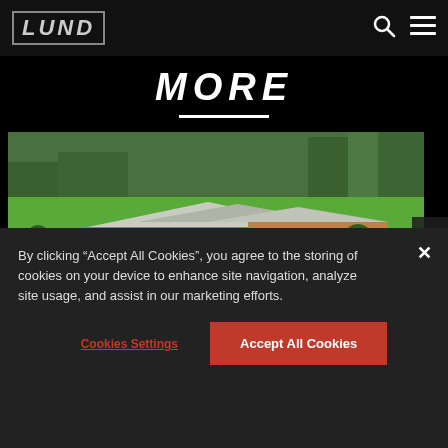LUND
MORE
[Figure (photo): Aerial view of a lakeside lodge with wooden exterior, metal roof, green lawn, trees, dock, and boats on the water. Label bar shows KENORA ON in white text on red background.]
By clicking “Accept All Cookies”, you agree to the storing of cookies on your device to enhance site navigation, analyze site usage, and assist in our marketing efforts.
Cookies Settings
Accept All Cookies